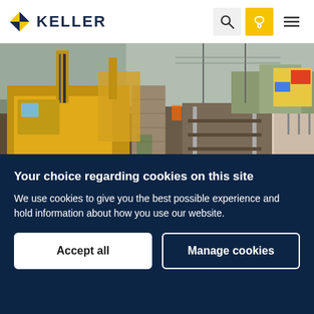KELLER
[Figure (photo): Construction site photo showing heavy yellow drilling machinery and equipment beside railway tracks, with a concrete pile column visible in the foreground, and railway lines and platform in the background.]
Your choice regarding cookies on this site
We use cookies to give you the best possible experience and hold information about how you use our website.
Accept all
Manage cookies